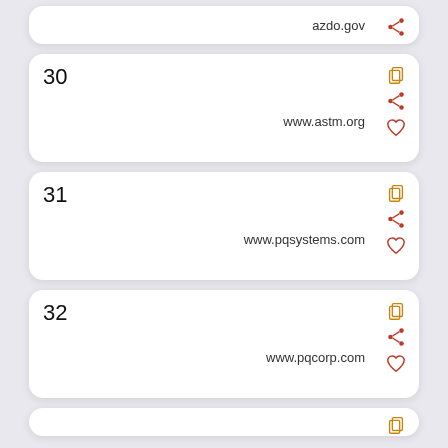azdo.gov
30
www.astm.org
31
www.pqsystems.com
32
www.pqcorp.com